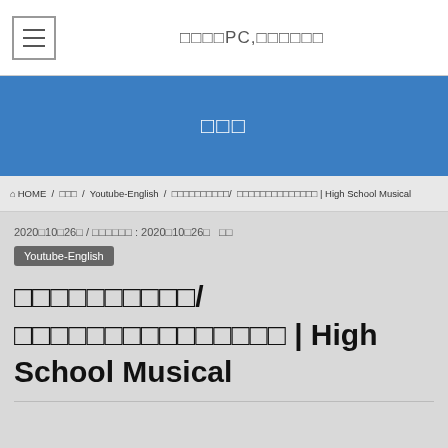□□□□PC,□□□□□□
□□□
HOME / □□□ / Youtube-English / □□□□□□□□□□/ □□□□□□□□□□□□□□ | High School Musical
2020□10□26□ / □□□□□□ : 2020□10□26□  □□
Youtube-English
□□□□□□□□□□/ □□□□□□□□□□□□□□□ | High School Musical